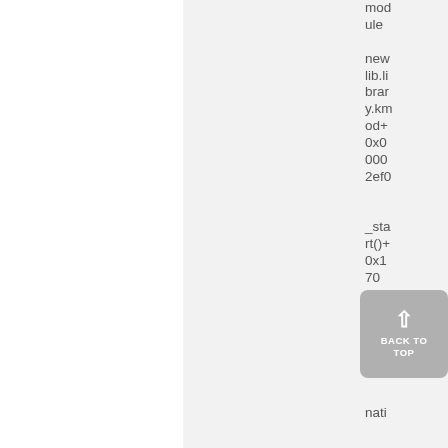module new lib.library.kmod+0x00002ef0 _start()+0x170 (section 8 @ 0x16C) nati